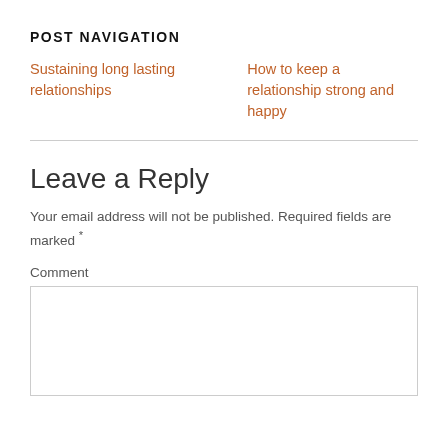POST NAVIGATION
Sustaining long lasting relationships
How to keep a relationship strong and happy
Leave a Reply
Your email address will not be published. Required fields are marked *
Comment